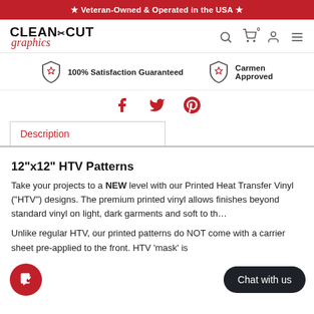★ Veteran-Owned & Operated in the USA ★
[Figure (logo): Clean Cut Graphics logo with black bold text and red italic 'graphics' wordmark]
[Figure (infographic): Navigation icons: search, cart (0), user, hamburger menu]
[Figure (infographic): Trust badges: shield with star '100% Satisfaction Guaranteed' and shield with star 'Carmen Approved']
[Figure (infographic): Social share icons: Facebook (f), Twitter bird, Pinterest P in red]
Description
12"x12" HTV Patterns
Take your projects to a NEW level with our Printed Heat Transfer Vinyl ("HTV") designs. The premium printed vinyl allows finishes beyond standard vinyl on light, dark garments and soft to th…
Unlike regular HTV, our printed patterns do NOT come with a carrier sheet pre-applied to the front. HTV 'mask' is